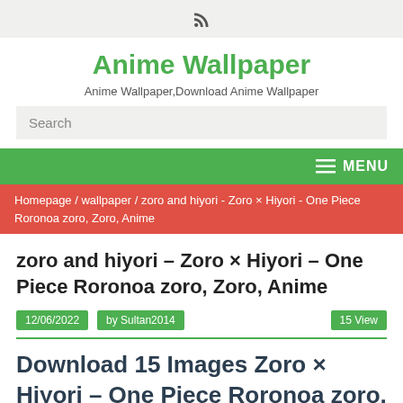RSS icon
Anime Wallpaper
Anime Wallpaper,Download Anime Wallpaper
Search
MENU
Homepage / wallpaper / zoro and hiyori - Zoro × Hiyori - One Piece Roronoa zoro, Zoro, Anime
zoro and hiyori – Zoro × Hiyori – One Piece Roronoa zoro, Zoro, Anime
12/06/2022   by Sultan2014   15 View
Download 15 Images Zoro × Hiyori – One Piece Roronoa zoro, Zoro, Anime